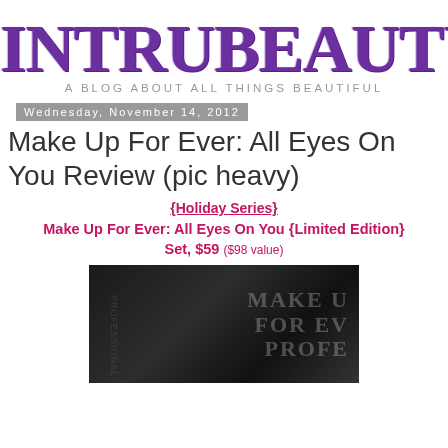[Figure (logo): INTRUBEAUTY logo in large distressed purple serif font with tagline 'A BLOG ABOUT ALL THINGS BEAUTIFUL']
Wednesday, November 14, 2012
Make Up For Ever: All Eyes On You Review (pic heavy)
{Holiday Series}
Make Up For Ever: All Eyes On You {Limited Edition} Set, $59 ($98 value)
[Figure (photo): Dark photo of Make Up For Ever product packaging showing text 'MAKE UP FOR EVER PROFESSIONAL']